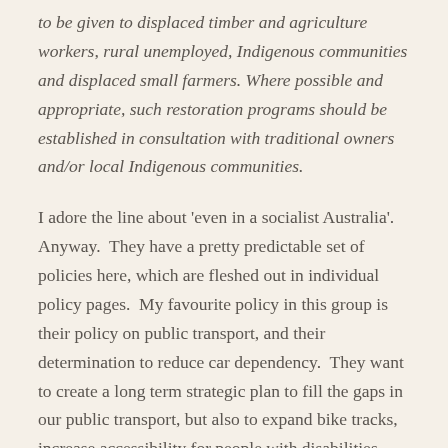to be given to displaced timber and agriculture workers, rural unemployed, Indigenous communities and displaced small farmers. Where possible and appropriate, such restoration programs should be established in consultation with traditional owners and/or local Indigenous communities.
I adore the line about 'even in a socialist Australia'. Anyway.  They have a pretty predictable set of policies here, which are fleshed out in individual policy pages.  My favourite policy in this group is their policy on public transport, and their determination to reduce car dependency.  They want to create a long term strategic plan to fill the gaps in our public transport, but also to expand bike tracks, increase accessibility for people with disabilities, and make public transport safer.  They also want to reverse the privatisation of public